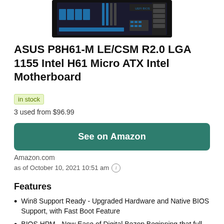[Figure (photo): Photo of ASUS P8H61-M LE/CSM R2.0 motherboard, showing PCB with blue connectors, UEFI BIOS chip, and various slots, on a black background.]
ASUS P8H61-M LE/CSM R2.0 LGA 1155 Intel H61 Micro ATX Intel Motherboard
in stock
3 used from $96.99
See on Amazon
Amazon.com
as of October 10, 2021 10:51 am ⓘ
Features
Win8 Support Ready - Upgraded Hardware and Native BIOS Support, with Fast Boot Feature
BIOS HPM - New Ease of Digital Bezop Beginning that full…